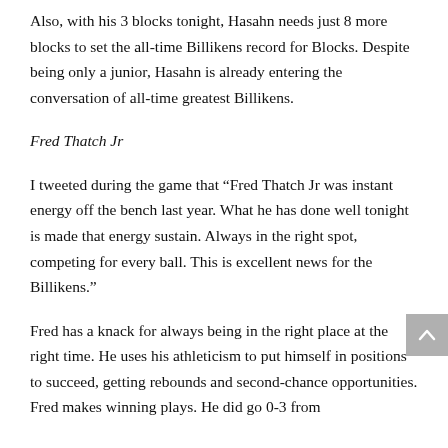Also, with his 3 blocks tonight, Hasahn needs just 8 more blocks to set the all-time Billikens record for Blocks. Despite being only a junior, Hasahn is already entering the conversation of all-time greatest Billikens.
Fred Thatch Jr
I tweeted during the game that “Fred Thatch Jr was instant energy off the bench last year. What he has done well tonight is made that energy sustain. Always in the right spot, competing for every ball. This is excellent news for the Billikens.”
Fred has a knack for always being in the right place at the right time. He uses his athleticism to put himself in positions to succeed, getting rebounds and second-chance opportunities. Fred makes winning plays. He did go 0-3 from